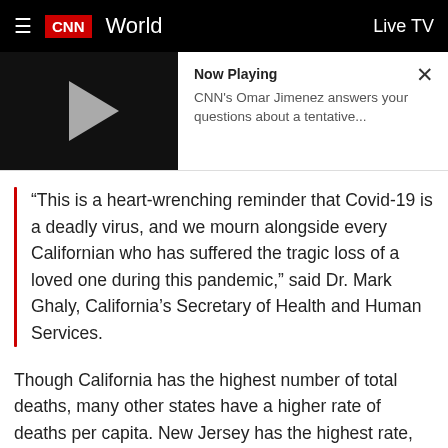CNN World   Live TV
[Figure (screenshot): Video player thumbnail showing a play button on dark background with 'Now Playing' info: CNN's Omar Jimenez answers your questions about a tentative...]
“This is a heart-wrenching reminder that Covid-19 is a deadly virus, and we mourn alongside every Californian who has suffered the tragic loss of a loved one during this pandemic,” said Dr. Mark Ghaly, California’s Secretary of Health and Human Services.
Though California has the highest number of total deaths, many other states have a higher rate of deaths per capita. New Jersey has the highest rate, followed by New York, which was hit hard early in the pandemic.